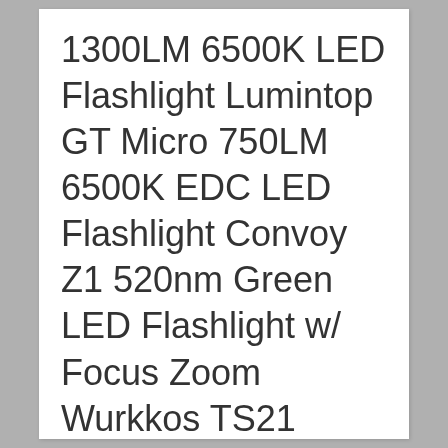1300LM 6500K LED Flashlight Lumintop GT Micro 750LM 6500K EDC LED Flashlight Convoy Z1 520nm Green LED Flashlight w/ Focus Zoom Wurkkos TS21